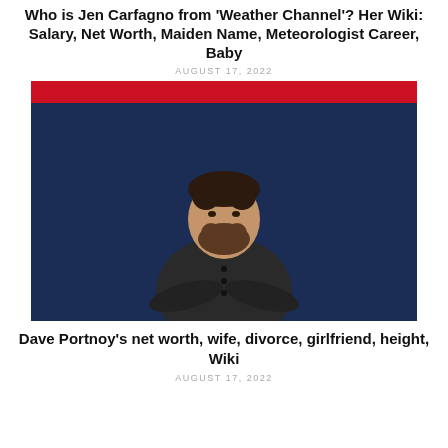Who is Jen Carfagno from 'Weather Channel'? Her Wiki: Salary, Net Worth, Maiden Name, Meteorologist Career, Baby
AUGUST 17, 2022
[Figure (photo): Man with beard and dark shirt standing with arms crossed in front of a Barstool Sports branded navy blue backdrop with red stool logos in dotted circles.]
Dave Portnoy's net worth, wife, divorce, girlfriend, height, Wiki
AUGUST 17, 2022